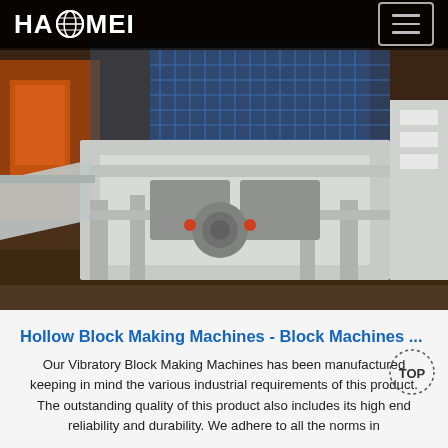HAOMEI
[Figure (photo): Industrial hollow block making machine photographed in a factory setting. Large white/grey machinery with metal frame, blue metal mesh guards, set on a dirt/concrete floor. Background shows orange and green equipment.]
Hollow Block Making Machines - Block Machines ...
Our Vibratory Block Making Machines has been manufactured keeping in mind the various industrial requirements of this product. The outstanding quality of this product also includes its high end reliability and durability. We adhere to all the norms in